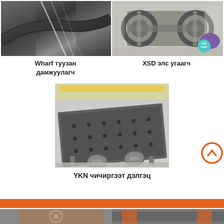[Figure (photo): Wharf belt conveyor industrial machinery photo with motion blur light effect in factory]
[Figure (photo): XSD sand washer large grey industrial sand washing machine outdoors]
Wharf туузан дамжуулагч
XSD элс угаагч
[Figure (photo): YKN vibrating screen large rectangular industrial vibrating screen machine in factory]
YKN чичиргээт дэлгэц
[Figure (photo): Bottom strip partial photos of industrial machinery]
[Figure (other): Live Chat bubble icon]
[Figure (other): Scroll to top orange circle button with chevron up]